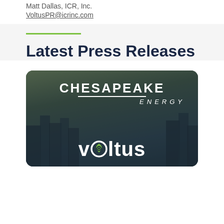Matt Dallas, ICR, Inc.
VoltusPR@icrinc.com
Latest Press Releases
[Figure (photo): Chesapeake Energy and Voltus co-branded press release card image with city skyline background at dusk, showing CHESAPEAKE ENERGY logo on top and Voltus logo below]